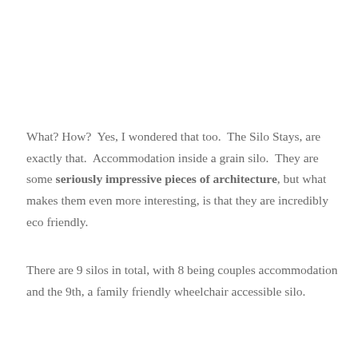What? How?  Yes, I wondered that too.  The Silo Stays, are exactly that.  Accommodation inside a grain silo.  They are some seriously impressive pieces of architecture, but what makes them even more interesting, is that they are incredibly eco friendly.
There are 9 silos in total, with 8 being couples accommodation and the 9th, a family friendly wheelchair accessible silo.